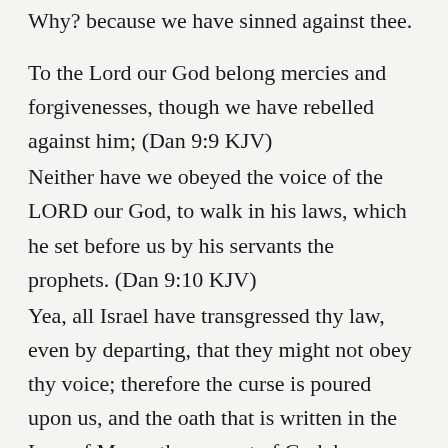Why? because we have sinned against thee.
To the Lord our God belong mercies and forgivenesses, though we have rebelled against him; (Dan 9:9 KJV)
Neither have we obeyed the voice of the LORD our God, to walk in his laws, which he set before us by his servants the prophets. (Dan 9:10 KJV)
Yea, all Israel have transgressed thy law, even by departing, that they might not obey thy voice; therefore the curse is poured upon us, and the oath that is written in the Law of Moses the servant of God, because we have sinned against him. (Dan 9:11 KJV)
And he hath confirmed his words, which he spake